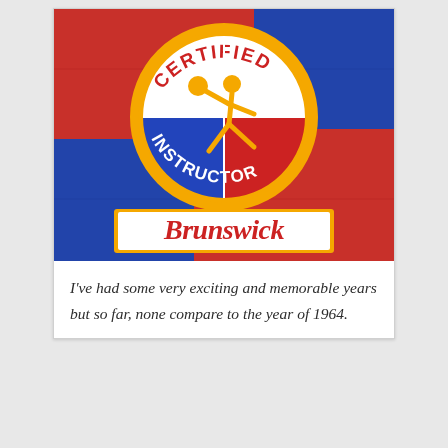[Figure (photo): A Brunswick Certified Instructor embroidered patch on a colorful red and blue knitted background. The circular patch has a gold border, divided into blue (left) and red (right) halves, with a white top arc reading 'CERTIFIED' and white curved text on the lower half reading 'INSTRUCTOR'. A gold cartoon figure of a bowler throwing a ball is in the center. Below the circular patch is a rectangular white patch with a gold border reading 'Brunswick' in red cursive script.]
I've had some very exciting and memorable years but so far, none compare to the year of 1964.